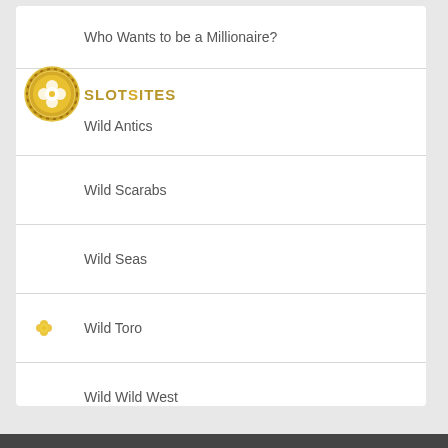[Figure (logo): SlotSites gold coin logo with clover and SLOTSITES text in gold]
Who Wants to be a Millionaire?
Wild Antics
Wild Scarabs
Wild Seas
Wild Toro
Wild Wild West
Wish Upon a Jackpot
Wolf Run
X-Files